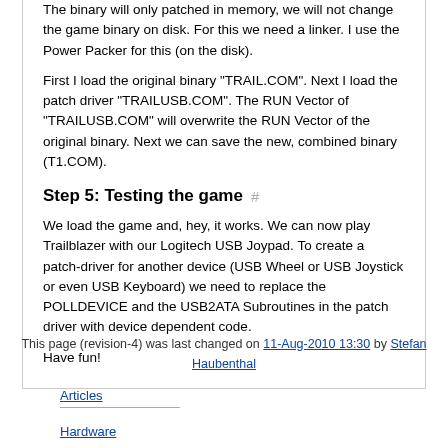The binary will only patched in memory, we will not change the game binary on disk. For this we need a linker. I use the Power Packer for this (on the disk).
First I load the original binary "TRAIL.COM". Next I load the patch driver "TRAILUSB.COM". The RUN Vector of "TRAILUSB.COM" will overwrite the RUN Vector of the original binary. Next we can save the new, combined binary (T1.COM).
Step 5: Testing the game
We load the game and, hey, it works. We can now play Trailblazer with our Logitech USB Joypad. To create a patch-driver for another device (USB Wheel or USB Joystick or even USB Keyboard) we need to replace the POLLDEVICE and the USB2ATA Subroutines in the patch driver with device dependent code.
Have fun!
This page (revision-4) was last changed on 11-Aug-2010 13:30 by Stefan Haubenthal
Articles
Hardware